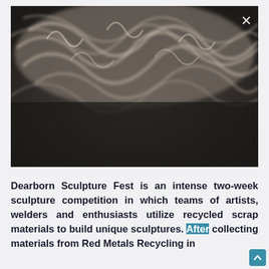[Figure (photo): Close-up photograph of swirling smoke or curling metallic wire/shavings against a dark background, with an X close button in the upper right corner.]
Dearborn Sculpture Fest is an intense two-week sculpture competition in which teams of artists, welders and enthusiasts utilize recycled scrap materials to build unique sculptures. After collecting materials from Red Metals Recycling in